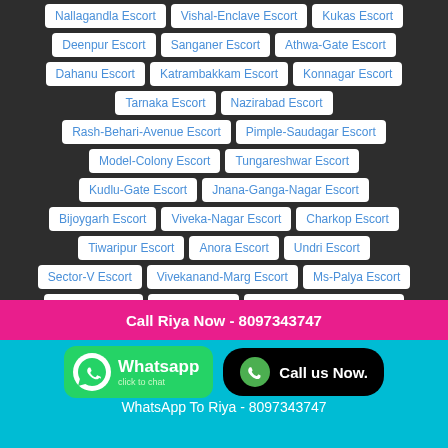Nallagandla Escort
Vishal-Enclave Escort
Kukas Escort
Deenpur Escort
Sanganer Escort
Athwa-Gate Escort
Dahanu Escort
Katrambakkam Escort
Konnagar Escort
Tarnaka Escort
Nazirabad Escort
Rash-Behari-Avenue Escort
Pimple-Saudagar Escort
Model-Colony Escort
Tungareshwar Escort
Kudlu-Gate Escort
Jnana-Ganga-Nagar Escort
Bijoygarh Escort
Viveka-Nagar Escort
Charkop Escort
Tiwaripur Escort
Anora Escort
Undri Escort
Sector-V Escort
Vivekanand-Marg Escort
Ms-Palya Escort
Dhanori Escort
Santej Escort
Lakshmi-Bai-Nagar Escort
Shahad Escort
Ognaj Escort
Somwar-Peth Escort
Madivala Escort
Baddehommanhalli Escort
Call Riya Now - 8097343747
[Figure (logo): WhatsApp click to chat button with green background and phone icon]
[Figure (logo): Call us Now button with black background and green phone icon]
WhatsApp To Riya - 8097343747